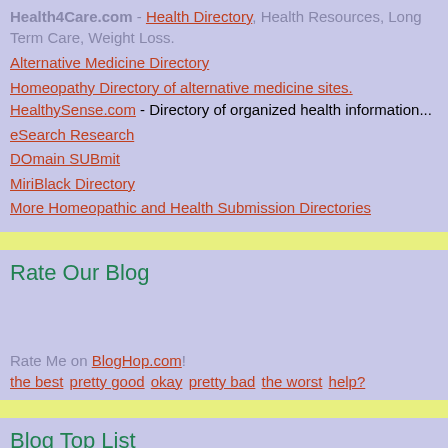Health4Care.com - Health Directory, Health Resources, Long Term Care, Weight Loss.
Alternative Medicine Directory
Homeopathy Directory of alternative medicine sites. HealthySense.com - Directory of organized health information...
eSearch Research
DOmain SUBmit
MiriBlack Directory
More Homeopathic and Health Submission Directories
Rate Our Blog
Rate Me on BlogHop.com! the best pretty good okay pretty bad the worst help?
Blog Top List